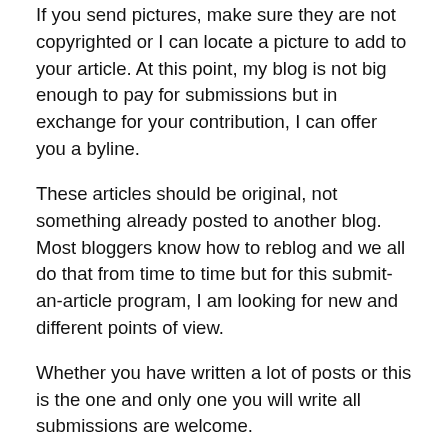If you send pictures, make sure they are not copyrighted or I can locate a picture to add to your article. At this point, my blog is not big enough to pay for submissions but in exchange for your contribution, I can offer you a byline.
These articles should be original, not something already posted to another blog. Most bloggers know how to reblog and we all do that from time to time but for this submit-an-article program, I am looking for new and different points of view.
Whether you have written a lot of posts or this is the one and only one you will write all submissions are welcome.
This is not something that needs to be done right away, I have posts scheduled to appear for a few weeks yet but I find those who say they want to write but never get started never get them written. If you have an idea let me know